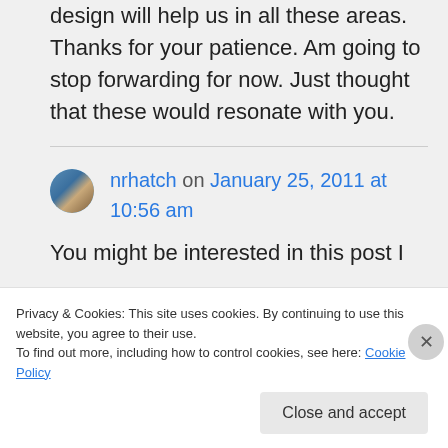design will help us in all these areas. Thanks for your patience. Am going to stop forwarding for now. Just thought that these would resonate with you.
nrhatch on January 25, 2011 at 10:56 am
You might be interested in this post I
Privacy & Cookies: This site uses cookies. By continuing to use this website, you agree to their use.
To find out more, including how to control cookies, see here: Cookie Policy